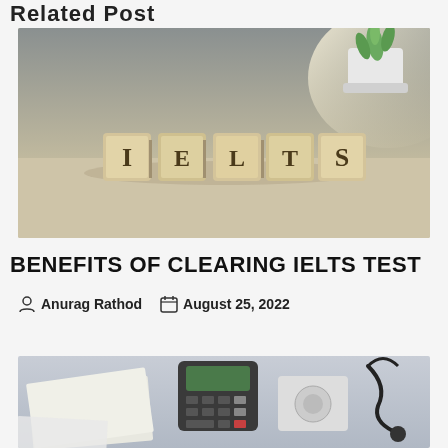Related Post
[Figure (photo): Wooden letter blocks spelling out IELTS on a table with a potted succulent plant in the background]
BENEFITS OF CLEARING IELTS TEST
Anurag Rathod  August 25, 2022
[Figure (photo): Desk with calculator, phone, stethoscope, papers and other office/medical items]